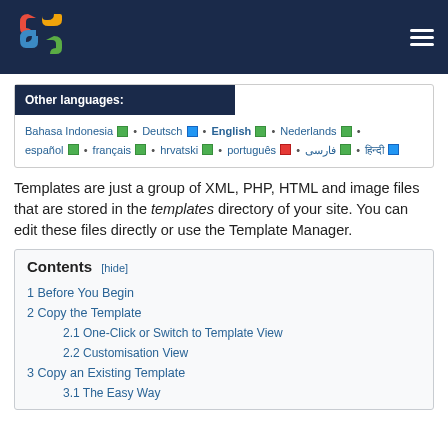Joomla navigation bar with logo and hamburger menu
Other languages: Bahasa Indonesia • Deutsch • English • Nederlands • español • français • hrvatski • português • فارسی • हिन्दी
Templates are just a group of XML, PHP, HTML and image files that are stored in the templates directory of your site. You can edit these files directly or use the Template Manager.
Contents [hide]
1 Before You Begin
2 Copy the Template
2.1 One-Click or Switch to Template View
2.2 Customisation View
3 Copy an Existing Template
3.1 The Easy Way